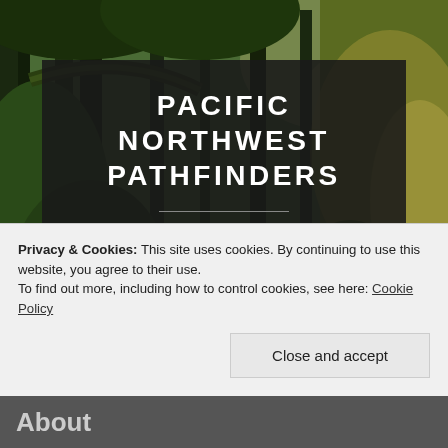[Figure (photo): Forest background photo showing dense Pacific Northwest temperate rainforest with tall trees, ferns, mossy branches, and dappled light filtering through the canopy.]
PACIFIC NORTHWEST PATHFINDERS
A Review Guide to Hikes and Hiking Destinations in the Pacific Northwest
Privacy & Cookies: This site uses cookies. By continuing to use this website, you agree to their use.
To find out more, including how to control cookies, see here: Cookie Policy
Close and accept
About